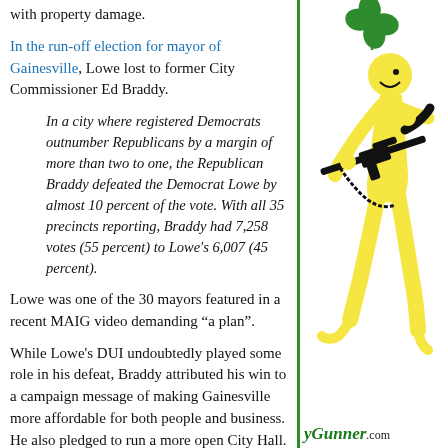with property damage.
In the run-off election for mayor of Gainesville, Lowe lost to former City Commissioner Ed Braddy.
In a city where registered Democrats outnumber Republicans by a margin of more than two to one, the Republican Braddy defeated the Democrat Lowe by almost 10 percent of the vote. With all 35 precincts reporting, Braddy had 7,258 votes (55 percent) to Lowe's 6,007 (45 percent).
Lowe was one of the 30 mayors featured in a recent MAIG video demanding "a plan".
While Lowe's DUI undoubtedly played some role in his defeat, Braddy attributed his win to a campaign message of making Gainesville more affordable for both people and business. He also pledged to run a more open City Hall.
While campaigning, Braddy said that differing or contrary viewpoints were not welcome
[Figure (illustration): Yellow stick-figure person holding a rifle, with a green four-leaf clover near the head, depicted on a white background next to a green vertical border.]
yGunner.com